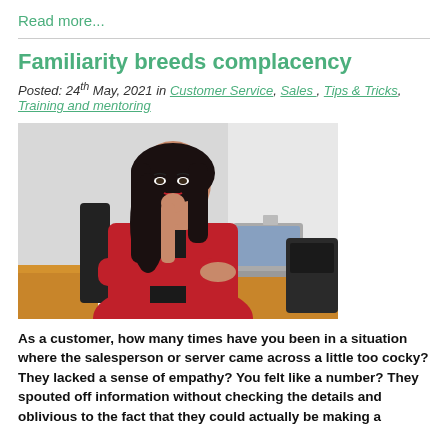Read more...
Familiarity breeds complacency
Posted: 24th May, 2021 in Customer Service, Sales , Tips & Tricks, Training and mentoring
[Figure (photo): Woman in red blazer sitting at a desk with a laptop and phone, resting her chin on her hand, looking bored or distracted, with a notepad and pen in front of her.]
As a customer, how many times have you been in a situation where the salesperson or server came across a little too cocky? They lacked a sense of empathy? You felt like a number? They spouted off information without checking the details and oblivious to the fact that they could actually be making a